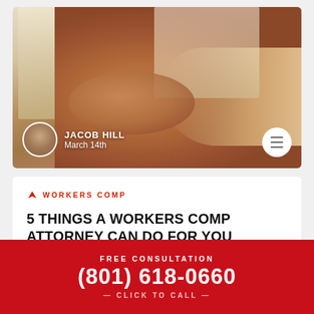[Figure (photo): Medical/chiropractic photo showing a practitioner applying pressure to a patient's neck/upper back area, with anatomical posters visible in the background]
JACOB HILL
March 14th
WORKERS COMP
5 THINGS A WORKERS COMP ATTORNEY CAN DO FOR YOU
[Figure (photo): Photo showing two people in a consultation or meeting setting]
FREE CONSULTATION
(801) 618-0660
— CLICK TO CALL —